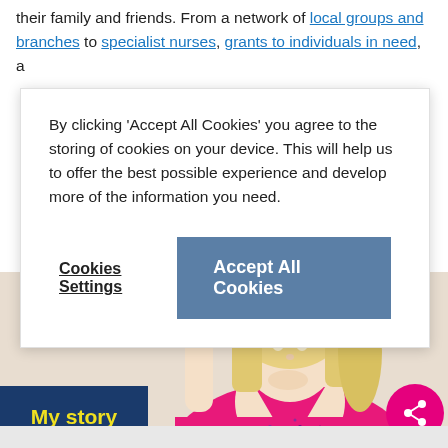their family and friends. From a network of local groups and branches to specialist nurses, grants to individuals in need, a
By clicking ‘Accept All Cookies’ you agree to the storing of cookies on your device. This will help us to offer the best possible experience and develop more of the information you need.
Cookies Settings | Accept All Cookies
[Figure (photo): A blonde woman wearing a pink sparkly halter top, with her hand raised near her chin, photographed against a white background.]
My story